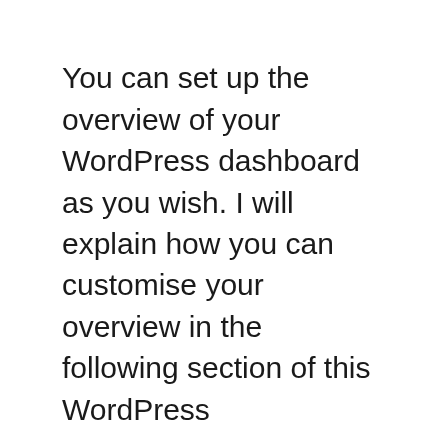You can set up the overview of your WordPress dashboard as you wish. I will explain how you can customise your overview in the following section of this WordPress